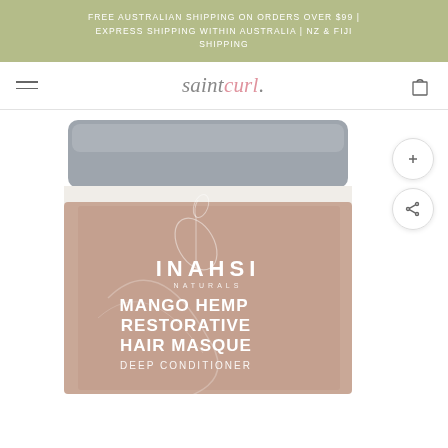FREE AUSTRALIAN SHIPPING ON ORDERS OVER $99 | EXPRESS SHIPPING WITHIN AUSTRALIA | NZ & FIJI SHIPPING
[Figure (screenshot): Saint Curl e-commerce website navigation bar with hamburger menu, saintcurl logo in italic serif font, and shopping bag icon]
[Figure (photo): Inahsi Naturals Mango Hemp Restorative Hair Masque Deep Conditioner product jar with grey lid and beige/tan label, partially cropped at bottom of page]